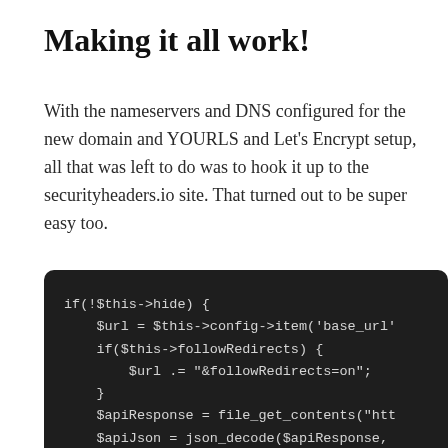Making it all work!
With the nameservers and DNS configured for the new domain and YOURLS and Let's Encrypt setup, all that was left to do was to hook it up to the securityheaders.io site. That turned out to be super easy too.
[Figure (screenshot): Dark-themed code block showing PHP code: if(!$this->hide) { $url = $this->config->item('base_url' ... if($this->followRedirects) { $url .= "&followRedirects=on"; } $apiResponse = file_get_contents("htt... $apiJson = json_decode($apiResponse, ... if($apiJson['status'] == "success" ...]